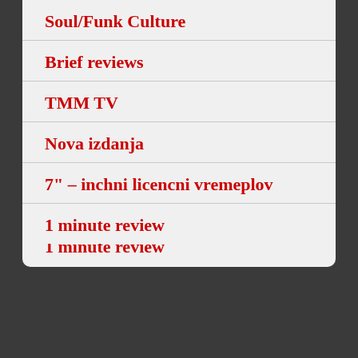Soul/Funk Culture
Brief reviews
TMM TV
Nova izdanja
7" – inchni licencni vremeplov
1 minute review
Blokner Reviews
Stereo Sun
Stereo Karavan
Ćoškari
Biografija